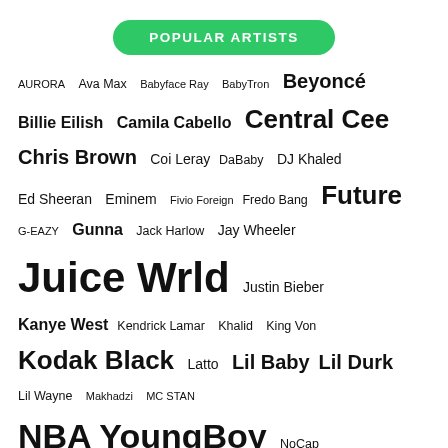POPULAR ARTISTS
AURORA  Ava Max  Babyface Ray  BabyTron  Beyoncé  Billie Eilish  Camila Cabello  Central Cee  Chris Brown  Coi Leray  DaBaby  DJ Khaled  Ed Sheeran  Eminem  Fivio Foreign  Fredo Bang  Future  G-EAZY  Gunna  Jack Harlow  Jay Wheeler  Juice Wrld  Justin Bieber  Kanye West  Kendrick Lamar  Khalid  King Von  Kodak Black  Latto  Lil Baby  Lil Durk  Lil Wayne  Makhadzi  MC STAN  NBA YoungBoy  NoCap  Post Malone  Rauw Alejandro  Roddy Ricch  Rod Wave  The Weeknd  Xxxtentacion  Yeat  YoungBoy Never Broke Again  Young Thug
RECENT POSTS